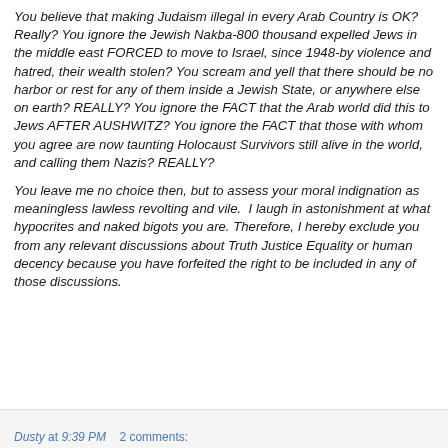You believe that making Judaism illegal in every Arab Country is OK? Really? You ignore the Jewish Nakba-800 thousand expelled Jews in the middle east FORCED to move to Israel, since 1948-by violence and hatred, their wealth stolen? You scream and yell that there should be no harbor or rest for any of them inside a Jewish State, or anywhere else on earth? REALLY? You ignore the FACT that the Arab world did this to Jews AFTER AUSHWITZ? You ignore the FACT that those with whom you agree are now taunting Holocaust Survivors still alive in the world, and calling them Nazis? REALLY?
You leave me no choice then, but to assess your moral indignation as meaningless lawless revolting and vile.  I laugh in astonishment at what hypocrites and naked bigots you are. Therefore, I hereby exclude you from any relevant discussions about Truth Justice Equality or human decency because you have forfeited the right to be included in any of those discussions.
Dusty at 9:39 PM    2 comments: